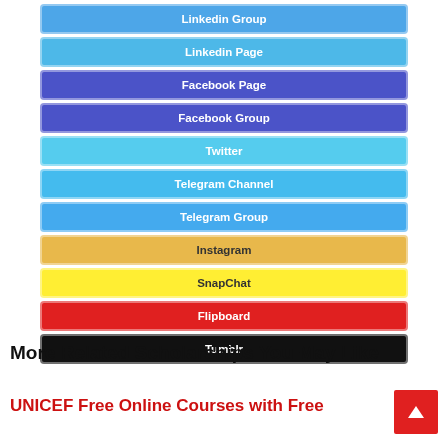Linkedin Group
Linkedin Page
Facebook Page
Facebook Group
Twitter
Telegram Channel
Telegram Group
Instagram
SnapChat
Flipboard
Tumblr
More Related Scholarships You May Like
UNICEF Free Online Courses with Free